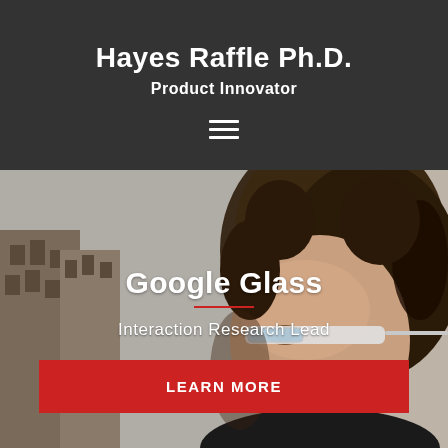Hayes Raffle Ph.D.
Product Innovator
[Figure (illustration): Hamburger menu icon (three horizontal white lines) on dark background]
[Figure (photo): Woman wearing Google Glass, close-up portrait, outdoor urban background, muted tones]
Google Glass
Interaction Research Lead
LEARN MORE